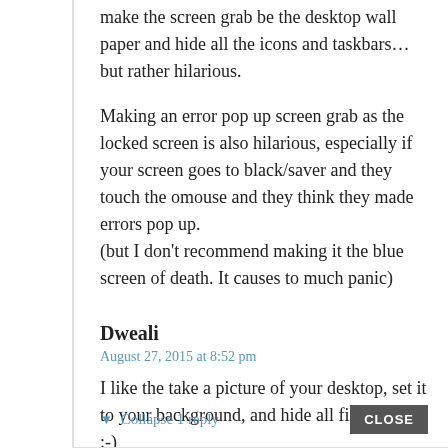make the screen grab be the desktop wall paper and hide all the icons and taskbars…but rather hilarious.
Making an error pop up screen grab as the locked screen is also hilarious, especially if your screen goes to black/saver and they touch the omouse and they think they made errors pop up.
(but I don't recommend making it the blue screen of death. It causes to much panic)
Dweali
August 27, 2015 at 8:52 pm
I like the take a picture of your desktop, set it to your background, and hide all files trick :-)
▼ Collapse 1 reply
CLOSE